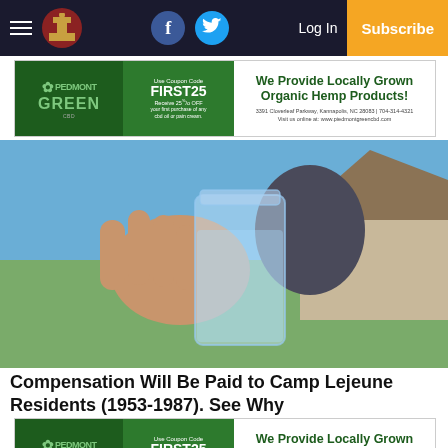Navigation bar with hamburger menu, logo, Facebook and Twitter icons, Log In, and Subscribe button
[Figure (photo): Advertisement banner for Piedmont Green CBD: Use Coupon Code FIRST25, Receive 25% OFF your first purchase of any cbd oil or pain cream. We Provide Locally Grown Organic Hemp Products! 3391 Cloverleaf Parkway, Kannapolis, NC 28083 | 704-314-4321, Visit us online at: www.piedmontgreencbd.com]
[Figure (photo): Person holding up a glass jar filled with clear water outdoors with blue sky and house in background]
Compensation Will Be Paid to Camp Lejeune Residents (1953-1987). See Why
[Figure (photo): Advertisement banner for Piedmont Green CBD: Use Coupon Code FIRST25, Receive 25% OFF your first purchase of any cbd oil or pain cream. We Provide Locally Grown Organic Hemp Products! 3391 Cloverleaf Parkway, Kannapolis, NC 28083 | 704-314-4321, Visit us online at: www.piedmontgreencbd.com]